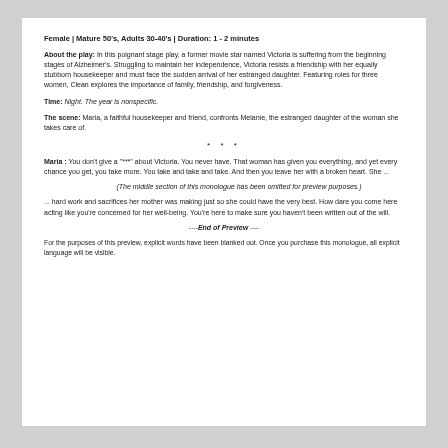Female | Mature 50's, Adults 30-40's | Duration: 1 - 2 minutes
About the play: In this poignant stage play, a former movie star named Victoria is suffering from the beginning stages of Alzheimer's. Struggling to maintain her independence, Victoria resists a friendship with her equally stubborn housekeeper and must face the sudden arrival of her estranged daughter. Featuring roles for three women, Clean explores the importance of family, friendship, and forgiveness.
Time: Night. The year is nonspecific.
The scene: Maria, a faithful housekeeper and friend, confronts Melanie, the estranged daughter of the woman she takes care of.
* * *
Maria : You don't give a "***" about Victoria. You never have. That woman has given you everything, and yet every chance you get, you take more. You take and take and take. And then you leave her with a broken heart. She ...
(The middle section of this monologue has been omitted for preview purposes.)
... hard work and sacrifices her mother was making just so she could have the very best. How dare you come here acting like you're concerned for her well-being. You're here to make sure you haven't been written out of the will.
----End of Preview ----
For the purposes of this preview, explicit words have been blanked out. Once you purchase this monologue, all explicit language will be visible.